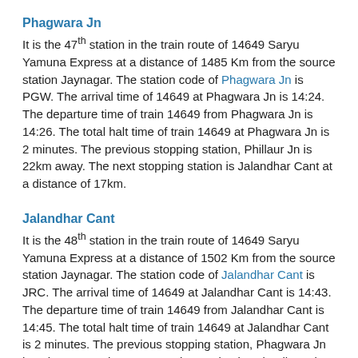Phagwara Jn
It is the 47th station in the train route of 14649 Saryu Yamuna Express at a distance of 1485 Km from the source station Jaynagar. The station code of Phagwara Jn is PGW. The arrival time of 14649 at Phagwara Jn is 14:24. The departure time of train 14649 from Phagwara Jn is 14:26. The total halt time of train 14649 at Phagwara Jn is 2 minutes. The previous stopping station, Phillaur Jn is 22km away. The next stopping station is Jalandhar Cant at a distance of 17km.
Jalandhar Cant
It is the 48th station in the train route of 14649 Saryu Yamuna Express at a distance of 1502 Km from the source station Jaynagar. The station code of Jalandhar Cant is JRC. The arrival time of 14649 at Jalandhar Cant is 14:43. The departure time of train 14649 from Jalandhar Cant is 14:45. The total halt time of train 14649 at Jalandhar Cant is 2 minutes. The previous stopping station, Phagwara Jn is 17km away. The next stopping station is Jalandhar City at a distance of 4km.